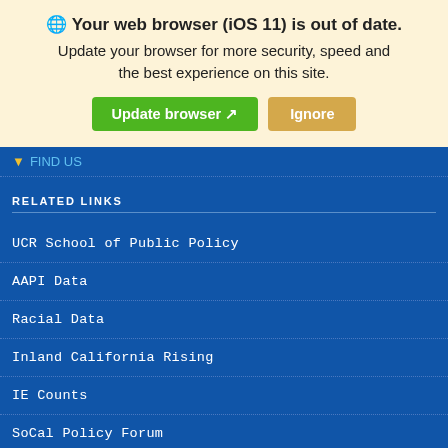🌐 Your web browser (iOS 11) is out of date. Update your browser for more security, speed and the best experience on this site.
Update browser ↗   Ignore
FIND US
RELATED LINKS
UCR School of Public Policy
AAPI Data
Racial Data
Inland California Rising
IE Counts
SoCal Policy Forum